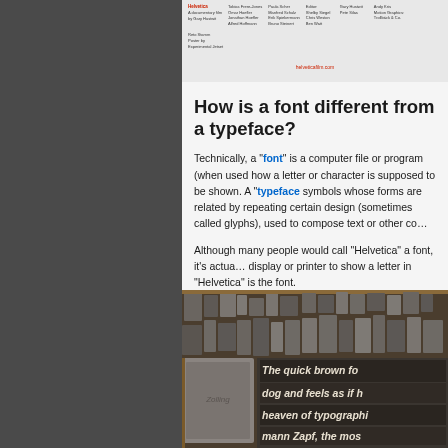[Figure (photo): Top strip showing film/documentary credits with small text columns, red Helvetica title text, crew names in small font]
How is a font different from a typeface?
Technically, a "font" is a computer file or program (when used) how a letter or character is supposed to be shown. A "typeface" symbols whose forms are related by repeating certain design (sometimes called glyphs), used to compose text or other co…
Although many people would call "Helvetica" a font, it's actua… display or printer to show a letter in "Helvetica" is the font.
[Figure (photo): Close-up photo of metal letterpress printing type blocks in a wooden tray, showing text 'The quick brown fo… dog and feels as if h… heaven of typographi… mann Zapf, the mos…' set in metal type]